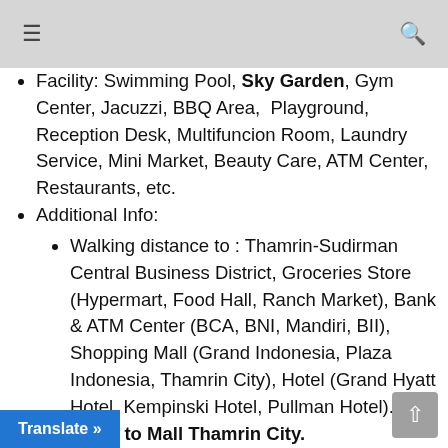≡  🔍
Facility: Swimming Pool, Sky Garden, Gym Center, Jacuzzi, BBQ Area, Playground, Reception Desk, Multifuncion Room, Laundry Service, Mini Market, Beauty Care, ATM Center, Restaurants, etc.
Additional Info:
Walking distance to : Thamrin-Sudirman Central Business District, Groceries Store (Hypermart, Food Hall, Ranch Market), Bank & ATM Center (BCA, BNI, Mandiri, BII), Shopping Mall (Grand Indonesia, Plaza Indonesia, Thamrin City), Hotel (Grand Hyatt Hotel, Kempinski Hotel, Pullman Hotel).
...ting to Mall Thamrin City.
...ccess to Avoid Odd Event: Thamrin...